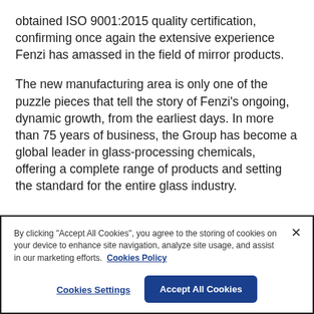obtained ISO 9001:2015 quality certification, confirming once again the extensive experience Fenzi has amassed in the field of mirror products.
The new manufacturing area is only one of the puzzle pieces that tell the story of Fenzi's ongoing, dynamic growth, from the earliest days. In more than 75 years of business, the Group has become a global leader in glass-processing chemicals, offering a complete range of products and setting the standard for the entire glass industry.
By clicking "Accept All Cookies", you agree to the storing of cookies on your device to enhance site navigation, analyze site usage, and assist in our marketing efforts.  Cookies Policy
Cookies Settings
Accept All Cookies